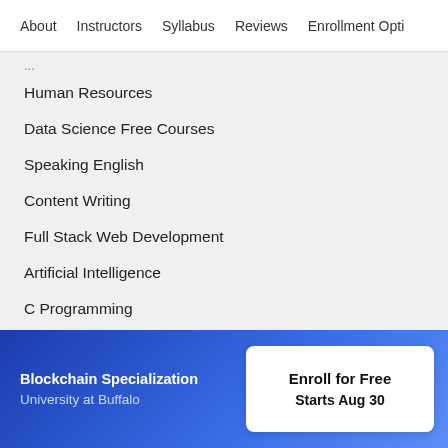About   Instructors   Syllabus   Reviews   Enrollment Opti
Human Resources
Data Science Free Courses
Speaking English
Content Writing
Full Stack Web Development
Artificial Intelligence
C Programming
Communication Skills
Blockchain
See all courses
Blockchain Specialization
University at Buffalo
Enroll for Free
Starts Aug 30